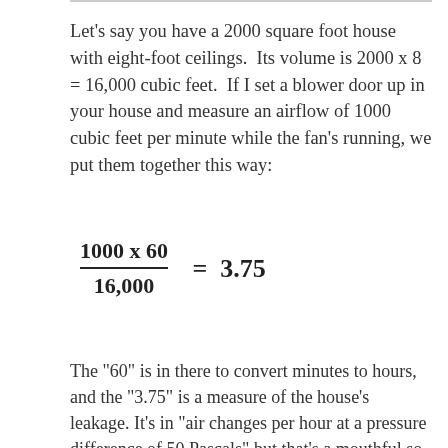Let's say you have a 2000 square foot house with eight-foot ceilings.  Its volume is 2000 x 8 = 16,000 cubic feet.  If I set a blower door up in your house and measure an airflow of 1000 cubic feet per minute while the fan's running, we put them together this way:
The "60" is in there to convert minutes to hours, and the "3.75" is a measure of the house's leakage. It's in "air changes per hour at a pressure difference of 50 Pascals" but that's a mouthful so we just say "ACH50."  This house has a leakage rate of 3.75 ACH50.